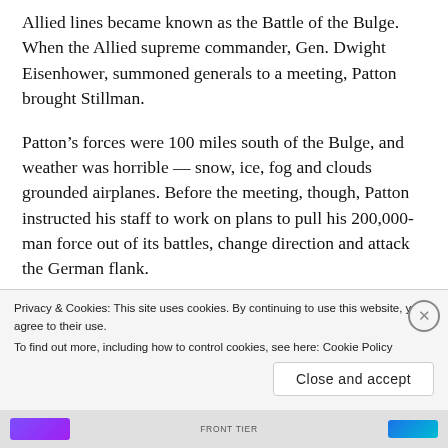Allied lines became known as the Battle of the Bulge. When the Allied supreme commander, Gen. Dwight Eisenhower, summoned generals to a meeting, Patton brought Stillman.
Patton’s forces were 100 miles south of the Bulge, and weather was horrible — snow, ice, fog and clouds grounded airplanes. Before the meeting, though, Patton instructed his staff to work on plans to pull his 200,000-man force out of its battles, change direction and attack the German flank.
When Eisenhower asked Patton how long it would
Privacy & Cookies: This site uses cookies. By continuing to use this website, you agree to their use.
To find out more, including how to control cookies, see here: Cookie Policy
Close and accept